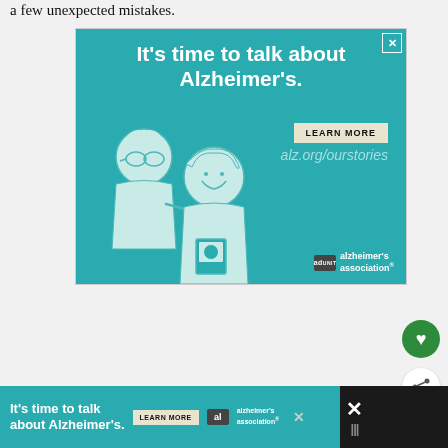a few unexpected mistakes.
[Figure (illustration): Alzheimer's Association advertisement. Teal background with white bold text: 'It's time to talk about Alzheimer's.' A 'LEARN MORE' button in tan/beige. URL 'alz.org/ourstories' in light teal italic. Illustration of two elderly people (cartoon, line art style) on left side. Ad Council badge and Alzheimer's Association logo at bottom right. Close X button at top right.]
[Figure (illustration): Bottom banner ad repeating Alzheimer's Association advertisement in smaller format with dark background. Text: 'It's time to talk about Alzheimer's.' with LEARN MORE button and logo. X close button. Right side shows X icon and share/menu icon in dark bar.]